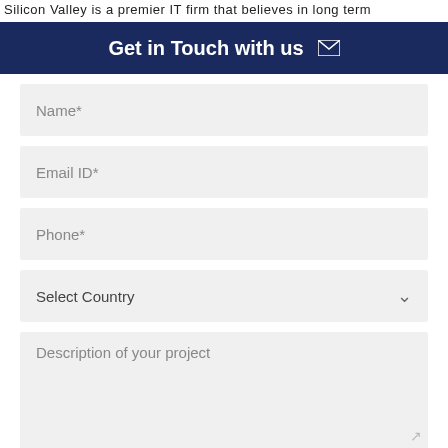Silicon Valley is a premier IT firm that believes in long term
Get in Touch with us
Name*
Email ID*
Phone*
Select Country
Description of your project
6 + 8   Answer :
SUBMIT